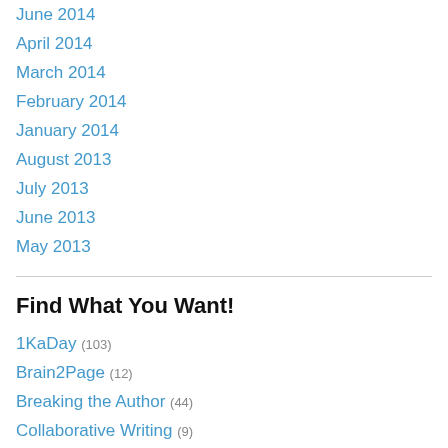June 2014
April 2014
March 2014
February 2014
January 2014
August 2013
July 2013
June 2013
May 2013
Find What You Want!
1KaDay (103)
Brain2Page (12)
Breaking the Author (44)
Collaborative Writing (9)
Fiction (43)
Fantasy (22)
Grimdark (1)
Literature (2)